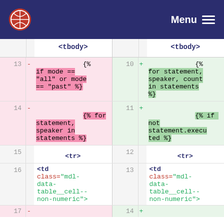Menu
[Figure (screenshot): A code diff view showing two columns. Left column (removed lines, pink background) and right column (added lines, green background). Lines 13-17 on left and 10-14 on right showing HTML template code with tbody, tr, td elements and template tags.]